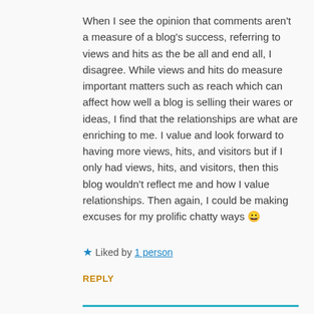When I see the opinion that comments aren't a measure of a blog's success, referring to views and hits as the be all and end all, I disagree. While views and hits do measure important matters such as reach which can affect how well a blog is selling their wares or ideas, I find that the relationships are what are enriching to me. I value and look forward to having more views, hits, and visitors but if I only had views, hits, and visitors, then this blog wouldn't reflect me and how I value relationships. Then again, I could be making excuses for my prolific chatty ways 😀
★ Liked by 1 person
REPLY